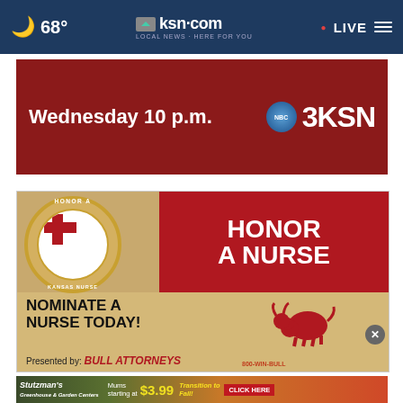68° ksn.com LOCAL NEWS · HERE FOR YOU LIVE
[Figure (screenshot): KSN TV ad banner: Wednesday 10 p.m. 3KSN on red background]
[Figure (infographic): Honor A Nurse - Kansas Nurses Foundation ad with KNF logo circle, red banner saying HONOR A NURSE, nominate a nurse today, presented by Bull Attorneys 800-WIN-BULL]
[Figure (infographic): Stutzman's Greenhouse & Garden Centers ad: Mums starting at $3.99, Transition to Fall!, CLICK HERE]